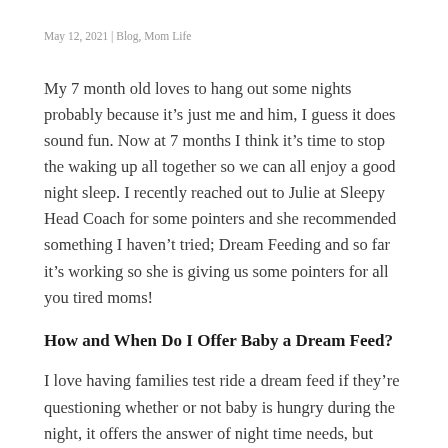May 12, 2021 | Blog, Mom Life
My 7 month old loves to hang out some nights probably because it’s just me and him, I guess it does sound fun. Now at 7 months I think it’s time to stop the waking up all together so we can all enjoy a good night sleep. I recently reached out to Julie at Sleepy Head Coach for some pointers and she recommended something I haven’t tried; Dream Feeding and so far it’s working so she is giving us some pointers for all you tired moms!
How and When Do I Offer Baby a Dream Feed?
I love having families test ride a dream feed if they’re questioning whether or not baby is hungry during the night…